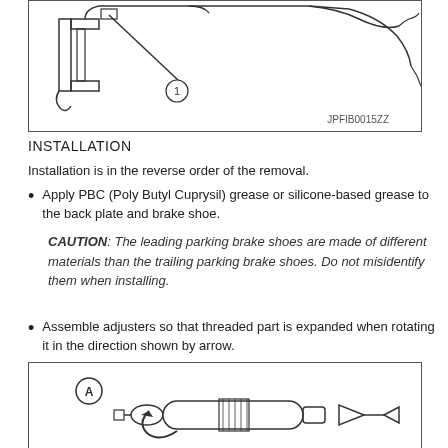[Figure (engineering-diagram): Technical line drawing of a brake component with callout number 1, labeled JPFIB0015ZZ]
INSTALLATION
Installation is in the reverse order of the removal.
Apply PBC (Poly Butyl Cuprysil) grease or silicone-based grease to the back plate and brake shoe.
CAUTION: The leading parking brake shoes are made of different materials than the trailing parking brake shoes. Do not misidentify them when installing.
Assemble adjusters so that threaded part is expanded when rotating it in the direction shown by arrow.
[Figure (engineering-diagram): Technical line drawing of an adjuster component with callout A and directional arrow showing rotation direction]